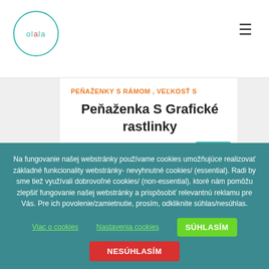[Figure (logo): Olala brand logo in a teal circle]
≡
PEŇAŽENKY S RÁMOM , VEĽKOSŤ S
Peňaženka S Grafické rastlinky
7,99€
Na fungovanie našej webstránky používame cookies umožňujúce realizovať základné funkcionality webstránky- nevyhnutné cookies/ (essential). Radi by sme tiež využívali dobrovoľné cookies/ (non-essential), ktoré nám pomôžu zlepšiť fungovanie našej webstránky a prispôsobiť relevantnú reklamu pre Vás. Pre ich povolenie/zamietnutie, prosím, odkliknite súhlas/nesúhlas.
Viac o cookies
Nastavenia cookies
SÚHLASÍM
NESÚHLASÍM